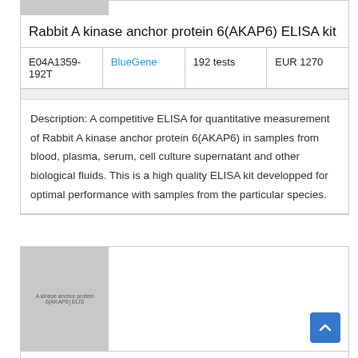Rabbit A kinase anchor protein 6(AKAP6) ELISA kit
| E04A1359-192T | BlueGene | 192 tests | EUR 1270 |
| --- | --- | --- | --- |
Description: A competitive ELISA for quantitative measurement of Rabbit A kinase anchor protein 6(AKAP6) in samples from blood, plasma, serum, cell culture supernatant and other biological fluids. This is a high quality ELISA kit developped for optimal performance with samples from the particular species.
[Figure (photo): Placeholder image thumbnail for Rabbit A kinase anchor protein 6(AKAP6) ELISA kit product listing]
Rabbit A kinase anchor protein 6(AKAP6) ELISA